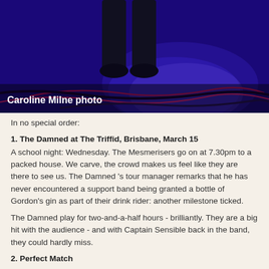[Figure (photo): A blue-lit stage photo showing a performer's legs and feet with cables on the floor, with a circular spotlight. Photo credit: Caroline Milne photo.]
In no special order:
1. The Damned at The Triffid, Brisbane, March 15
A school night: Wednesday. The Mesmerisers go on at 7.30pm to a packed house. We carve, the crowd makes us feel like they are there to see us. The Damned 's tour manager remarks that he has never encountered a support band being granted a bottle of Gordon's gin as part of their drink rider: another milestone ticked.
The Damned play for two-and-a-half hours - brilliantly. They are a big hit with the audience - and with Captain Sensible back in the band, they could hardly miss.
2. Perfect Match
Now I do know where she comes from: Banyo. I've got a